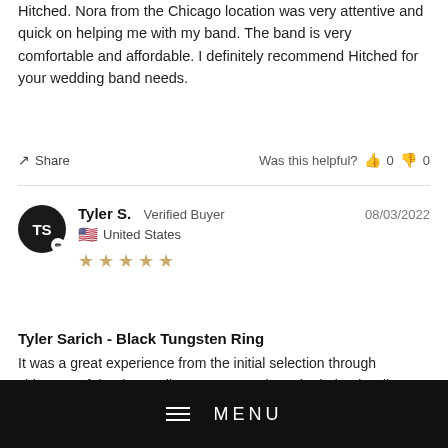Hitched. Nora from the Chicago location was very attentive and quick on helping me with my band. The band is very comfortable and affordable. I definitely recommend Hitched for your wedding band needs.
Share   Was this helpful?  0  0
Tyler S.  Verified Buyer   08/03/2022
United States
★★★★★
Tyler Sarich - Black Tungsten Ring
It was a great experience from the initial selection through shipment of the ring. Kelley was great when she helped Colleen and I.
[Figure (photo): Photo of a ring on a surface]
MENU